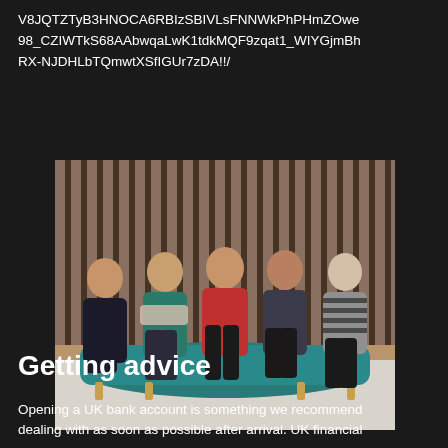V8JQTZTyB3HNO CA6RBIzSBIVLsFNNWkPhPHmZOwe98_CZIWTkS68AAbwqaLwK1tdkMQF9zqat1_WIYGjmBhRX-NJDHLbTQmwtXSfIGUr7zDA!!/
[Figure (photo): Group photo of five women seated on a teal curved sofa in front of a wooden slat wall background. Women are wearing various colored tops including teal, red, black and white striped.]
Getting advice
Opening a UK bank account is something we recommend dealing with as soon as possible after arrival. UK financial